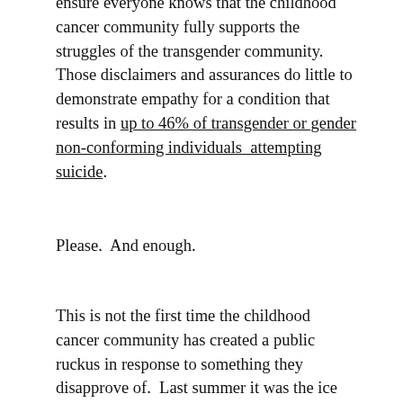ensure everyone knows that the childhood cancer community fully supports the struggles of the transgender community.  Those disclaimers and assurances do little to demonstrate empathy for a condition that results in up to 46% of transgender or gender non-conforming individuals  attempting suicide.
Please.  And enough.
This is not the first time the childhood cancer community has created a public ruckus in response to something they disapprove of.  Last summer it was the ice bucket challenge for ALS.  For weeks I read blogs and saw angry status updates from Cancer Parents about how ALS was getting the support and recognition that our children with cancer should have.  Like with Jenner, the unspoken suggestion is that childhood cancer is worse — worse than ALS, worse that gender confusion, worse than any cause or effort that eclipses our own.